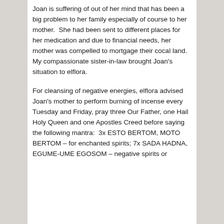Joan is suffering of out of her mind that has been a big problem to her family especially of course to her mother.  She had been sent to different places for her medication and due to financial needs, her mother was compelled to mortgage their cocal land.  My compassionate sister-in-law brought Joan's situation to elflora.
For cleansing of negative energies, elflora advised Joan's mother to perform burning of incense every Tuesday and Friday, pray three Our Father, one Hail Holy Queen and one Apostles Creed before saying the following mantra:  3x ESTO BERTOM, MOTO BERTOM – for enchanted spirits; 7x SADA HADNA, EGUME-UME EGOSOM – negative spirits or